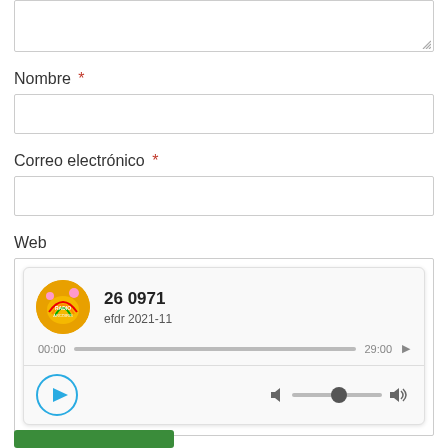[Figure (screenshot): Textarea input box (partially visible at top)]
Nombre *
[Figure (screenshot): Text input field for Nombre]
Correo electrónico *
[Figure (screenshot): Text input field for Correo electrónico]
Web
[Figure (screenshot): Audio player widget showing: title '26 0971', subtitle 'efdr 2021-11', progress bar from 00:00 to 29:00, play button, and volume control]